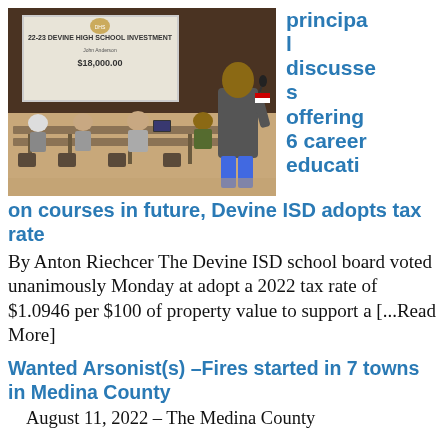[Figure (photo): A man standing at a podium or speaking at the front of a room with a projection screen showing '22-23 Devine High School Investment' and school board members seated at tables in the background.]
principal discusses offering 6 career education courses in future, Devine ISD adopts tax rate
By Anton Riechcer The Devine ISD school board voted unanimously Monday at adopt a 2022 tax rate of $1.0946 per $100 of property value to support a [...Read More]
Wanted Arsonist(s) –Fires started in 7 towns in Medina County
August 11, 2022 – The Medina County